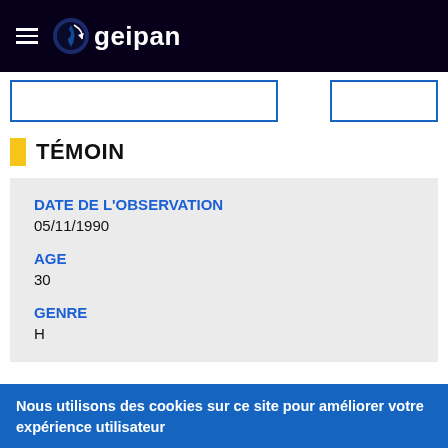≡ geipan
TÉMOIN
DATE DE L'OBSERVATION
05/11/1990
AGE
30
GENRE
H
Nous utilisons des cookies sur ce site pour améliorer votre expérience utilisateur